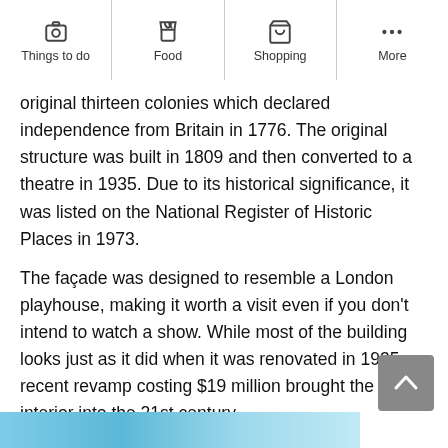Things to do | Food | Shopping | More
original thirteen colonies which declared independence from Britain in 1776. The original structure was built in 1809 and then converted to a theatre in 1935. Due to its historical significance, it was listed on the National Register of Historic Places in 1973.
The façade was designed to resemble a London playhouse, making it worth a visit even if you don't intend to watch a show. While most of the building looks just as it did when it was renovated in 1935, a recent revamp costing $19 million brought the interior into the 21st century.
Location: 135 Church St, Charleston, SC 29401, USA
Phone: +1 843-577-7183